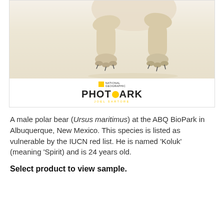[Figure (photo): Photo of a polar bear's lower body and legs against a white/cream background, with National Geographic Photo Ark logo below]
A male polar bear (Ursus maritimus) at the ABQ BioPark in Albuquerque, New Mexico. This species is listed as vulnerable by the IUCN red list. He is named ‘Koluk’ (meaning ‘Spirit) and is 24 years old.
Select product to view sample.